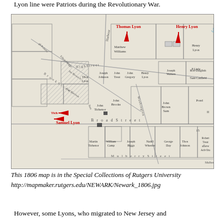Lyon line were Patriots during the Revolutionary War.
[Figure (map): 1806 map of Newark NJ showing property lots with names including Thomas Lyon, Henry Lyon, Samuel Lyon, Matthew Williams, Joseph Johnson, John Treat, John Gregory, Henry Lyon, Joseph Walters, Rob Dalglish, Samuel Canfield, John Brooks, John Tichener, Martin Tichener, William Camp, Joseph Biggs, Nath'l Wheeler, George Day, Thos Johnson, and others. Red arrows and labels highlight Thomas Lyon, Henry Lyon, and Samuel Lyon properties.]
This 1806 map is in the Special Collections of Rutgers University
http://mapmaker.rutgers.edu/NEWARK/Newark_1806.jpg
However, some Lyons, who migrated to New Jersey and